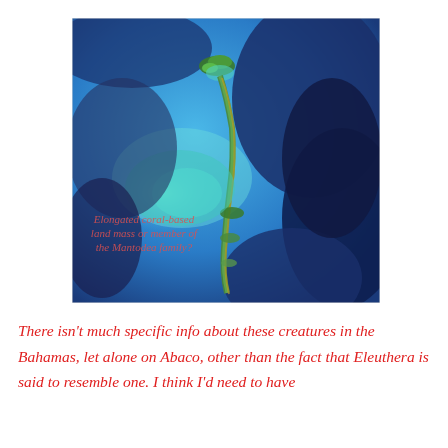[Figure (photo): Aerial satellite image of elongated coral-based land mass (resembling Eleuthera, Bahamas) shown in shades of blue ocean with green-edged islands, with an overlaid italic caption reading 'Elongated coral-based land mass or member of the Mantodea family?']
There isn't much specific info about these creatures in the Bahamas, let alone on Abaco, other than the fact that Eleuthera is said to resemble one. I think I'd need to have